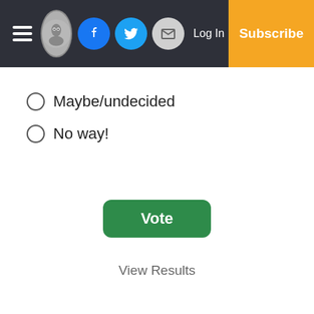Navigation bar with hamburger menu, logo, Facebook icon, Twitter icon, Email icon, Log In, Subscribe
Maybe/undecided
No way!
Vote
View Results